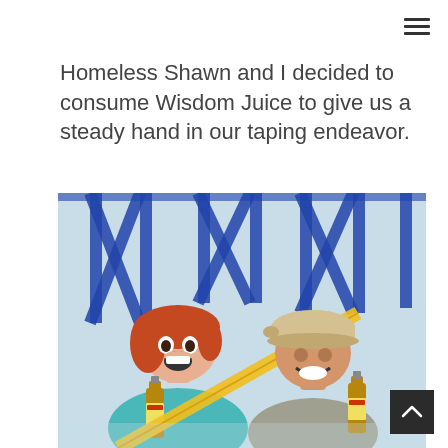≡
Homeless Shawn and I decided to consume Wisdom Juice to give us a steady hand in our taping endeavor.
[Figure (photo): A woman with red hair and a man wearing a baseball cap pose in a room with blue painter's tape on the walls. Both are holding beer bottles and smiling/excited. The man holds a yellow tape measure.]